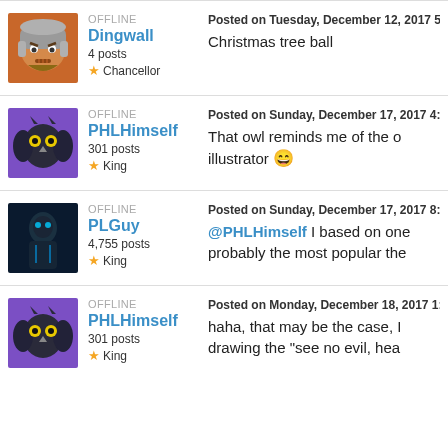Post 1 - Dingwall, OFFLINE, 4 posts, Chancellor. Posted on Tuesday, December 12, 2017 5: Christmas tree ball
Post 2 - PHLHimself, OFFLINE, 301 posts, King. Posted on Sunday, December 17, 2017 4: That owl reminds me of the o illustrator 😄
Post 3 - PLGuy, OFFLINE, 4,755 posts, King. Posted on Sunday, December 17, 2017 8: @PHLHimself I based on one probably the most popular the
Post 4 - PHLHimself, OFFLINE, 301 posts, King. Posted on Monday, December 18, 2017 1: haha, that may be the case, drawing the "see no evil, hea